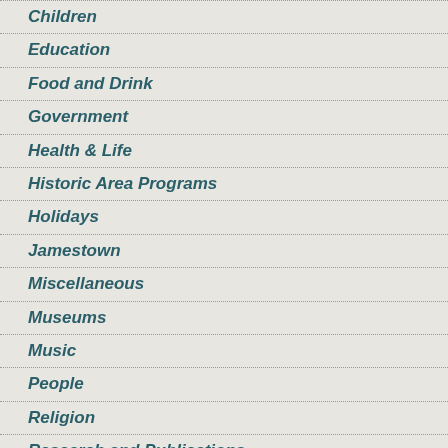Children
Education
Food and Drink
Government
Health & Life
Historic Area Programs
Holidays
Jamestown
Miscellaneous
Museums
Music
People
Religion
Research and Publications
Revolution